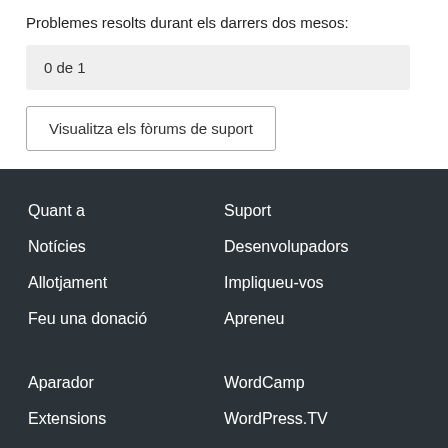Problemes resolts durant els darrers dos mesos:
0 de 1
Visualitza els fòrums de suport
Quant a
Notícies
Allotjament
Feu una donació
Suport
Desenvolupadors
Impliqueu-vos
Apreneu
Aparador
Extensions
Temes
WordCamp
WordPress.TV
BuddyPress